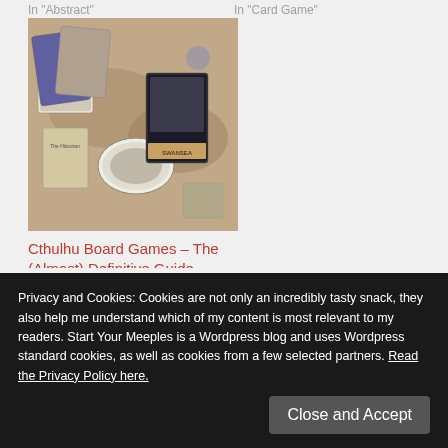In "Abstract"
In "Card Game"
[Figure (photo): Board game photo showing cards and game components on a map-like game board, related to Cthulhu theme]
Cthulhu Board Games – The (Almost) Definitive Guide
March 24, 2018
In "Adventure"
Published by Luke
Privacy and Cookies: Cookies are not only an incredibly tasty snack, they also help me understand which of my content is most relevant to my readers. Start Your Meeples is a Wordpress blog and uses Wordpress standard cookies, as well as cookies from a few selected partners. Read the Privacy Policy here.
Close and Accept